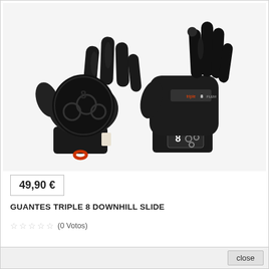[Figure (photo): Two black Triple 8 Downhill Slide gloves. The left glove shows the palm side with a large circular hard cap pad on the back of the hand and a red loop pull on the wrist strap. The right glove shows the back of the hand with the Triple 8 logo label on the wrist strap.]
49,90 €
GUANTES TRIPLE 8 DOWNHILL SLIDE
☆ ☆ ☆ ☆ ☆ (0 Votos)
close